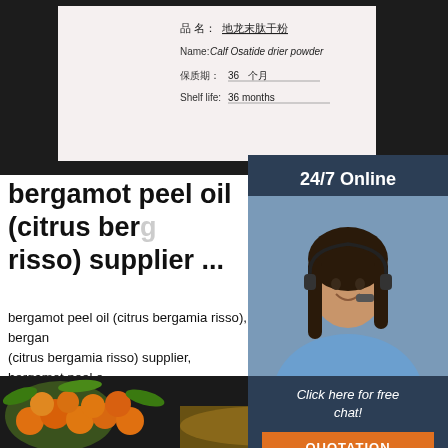[Figure (photo): Dark background product label card showing Chinese and English text: product name '地龙末肽干粉', Name: Calf Osatide drier powder, shelf life 36 个月 / 36 months]
品 名：地龙末肽干粉
Name: Calf Osatide drier powder
保质期：36 个月
Shelf life: 36 months
[Figure (photo): Customer service agent woman with headset smiling, 24/7 Online panel overlay on right side with 'Click here for free chat!' text and QUOTATION button]
bergamot peel oil (citrus bergamia risso) supplier ...
bergamot peel oil (citrus bergamia risso), bergamot peel oil (citrus bergamia risso) supplier, bergamot peel oil (citrus bergamia risso) distributor, CAS 89957-91-5, bergamot peel oil (citrus bergamia risso) manufacturer, bergamot peel oil (citrus bergamia risso) wholesale
Get Price
[Figure (photo): Close-up image of orange sea buckthorn berries with green leaves and liquid/oil at the bottom of the frame]